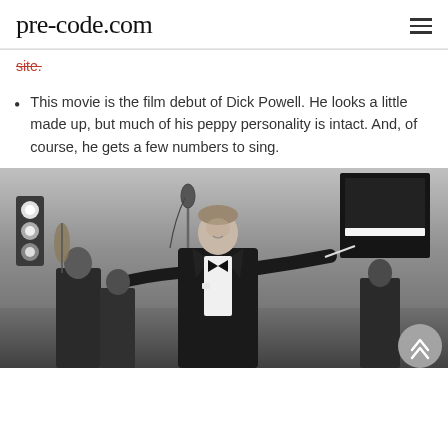pre-code.com
site.
This movie is the film debut of Dick Powell. He looks a little made up, but much of his peppy personality is intact. And, of course, he gets a few numbers to sing.
[Figure (photo): Black and white film still showing a man in a tuxedo standing at a microphone stand, arms outstretched, with stage lights to the left and a piano in the upper right background. Other musicians are visible in the background.]